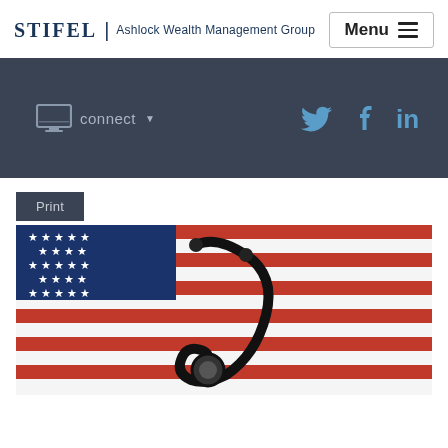STIFEL | Ashlock Wealth Management Group
[Figure (screenshot): Navigation bar with connect icon and social media icons (Twitter, Facebook, LinkedIn) on dark background]
Print
[Figure (photo): Stethoscope placed on an American flag]